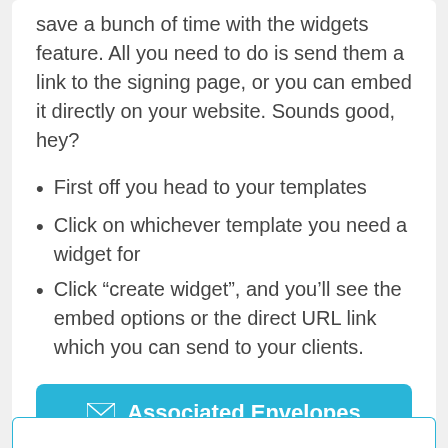save a bunch of time with the widgets feature. All you need to do is send them a link to the signing page, or you can embed it directly on your website. Sounds good, hey?
First off you head to your templates
Click on whichever template you need a widget for
Click “create widget”, and you’ll see the embed options or the direct URL link which you can send to your clients.
Associated Envelopes